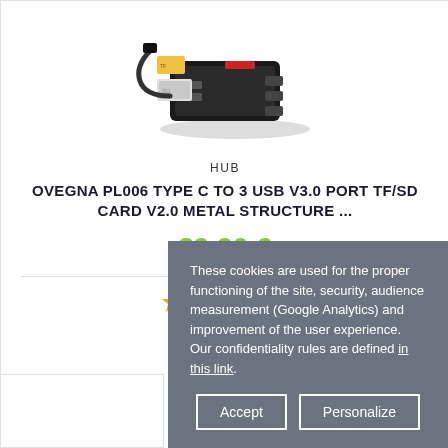[Figure (photo): Product photo of USB hub with memory cards, partially visible at top of card]
HUB
OVEGNA PL006 TYPE C TO 3 USB V3.0 PORT TF/SD CARD V2.0 METAL STRUCTURE ...
39.90 €
[Figure (other): 4 orange star rating icons]
[Figure (other): Heart (wishlist) and eye (quick view) icon buttons]
These cookies are used for the proper functioning of the site, security, audience measurement (Google Analytics) and improvement of the user experience. Our confidentiality rules are defined in this link .
Accept  Personalize